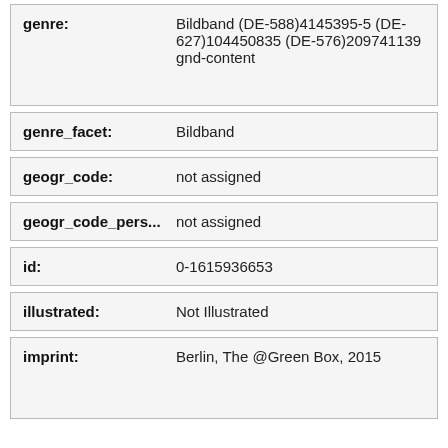| Field | Value |
| --- | --- |
| genre: | Bildband (DE-588)4145395-5 (DE-627)104450835 (DE-576)209741139 gnd-content |
| genre_facet: | Bildband |
| geogr_code: | not assigned |
| geogr_code_pers...: | not assigned |
| id: | 0-1615936653 |
| illustrated: | Not Illustrated |
| imprint: | Berlin, The @Green Box, 2015 |